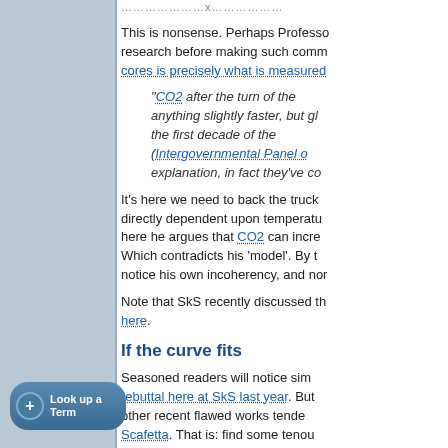.....................x.................. [truncated dotted line]
This is nonsense. Perhaps Professo... research before making such comm... cores is precisely what is measured...
"CO2 after the turn of the... anything slightly faster, but gl... the first decade of the... (Intergovernmental Panel o... explanation, in fact they've co...
It's here we need to back the truck... directly dependent upon temperatu... here he argues that CO2 can incre... Which contradicts his 'model'. By t... notice his own incoherency, and nor...
Note that SkS recently discussed th... here.
If the curve fits
Seasoned readers will notice sim... rebuttal here at SkS last year. But... other recent flawed works tende... Scafetta. That is: find some tenou... use these to assert the mainstream... no physical basis for the statistical...